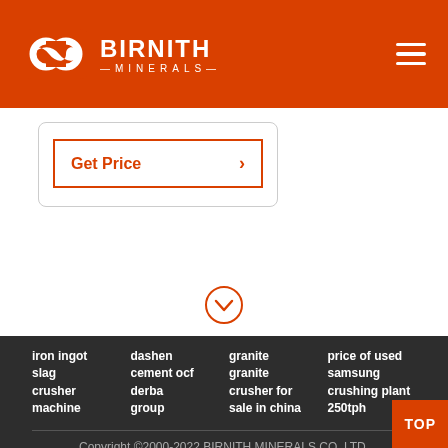[Figure (logo): Birnith Minerals logo with hexagon icon and text on orange header bar]
[Figure (other): Get Price button with orange border and arrow]
[Figure (other): Chevron down circle icon]
iron ingot slag crusher machine
dashen cement ocf derba group
granite granite crusher for sale in china
price of used samsung crushing plant 250tph
Company Address: No. 1688, Gaoke East Road,Pudong new district, Shanghai, China.
Copyright ©2000-2022 BIRNITH MINERALS CO.,LTD.